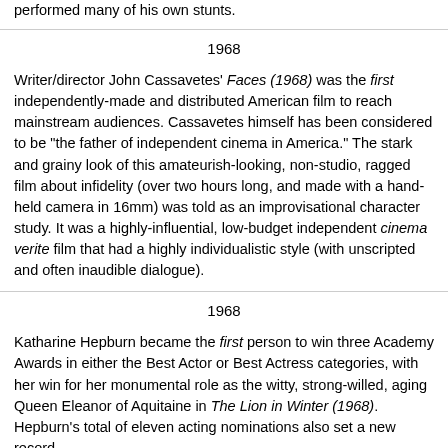performed many of his own stunts.
1968
Writer/director John Cassavetes' Faces (1968) was the first independently-made and distributed American film to reach mainstream audiences. Cassavetes himself has been considered to be "the father of independent cinema in America." The stark and grainy look of this amateurish-looking, non-studio, ragged film about infidelity (over two hours long, and made with a hand-held camera in 16mm) was told as an improvisational character study. It was a highly-influential, low-budget independent cinema verite film that had a highly individualistic style (with unscripted and often inaudible dialogue).
1968
Katharine Hepburn became the first person to win three Academy Awards in either the Best Actor or Best Actress categories, with her win for her monumental role as the witty, strong-willed, aging Queen Eleanor of Aquitaine in The Lion in Winter (1968). Hepburn's total of eleven acting nominations also set a new record.
1968
Lionel Bart's musical version, inspired by the Charles Dickens novel "Oliver Twist" was both a British production and a big Broadway hit, as well as a